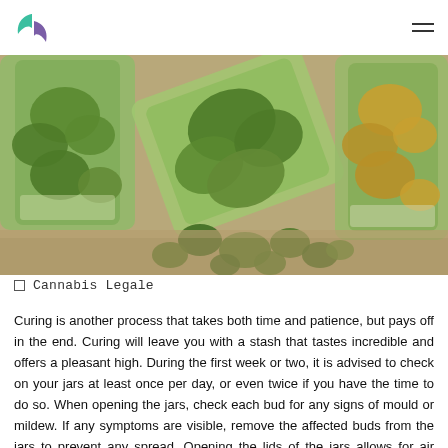Logo and navigation menu
[Figure (photo): Glass jars filled with cannabis buds, one jar tipped over spilling buds onto a surface]
Cannabis Legale
Curing is another process that takes both time and patience, but pays off in the end. Curing will leave you with a stash that tastes incredible and offers a pleasant high. During the first week or two, it is advised to check on your jars at least once per day, or even twice if you have the time to do so. When opening the jars, check each bud for any signs of mould or mildew. If any symptoms are visible, remove the affected buds from the jars to prevent any spread. Opening the lids of the jars allows for air exchange to take place, gracing your buds with a